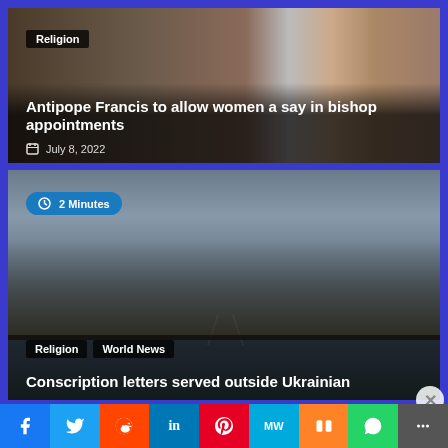[Figure (photo): Women in religious setting, church photo background for religion article]
Religion
Antipope Francis to allow women a say in bishop appointments
July 8, 2022
[Figure (photo): Ukrainian soldiers in military gear walking on road, dark cloudy sky]
2 Minutes
Religion  World News
Conscription letters served outside Ukrainian
Advertisements
[Figure (screenshot): Tumblr advertisement banner with colorful gradient background]